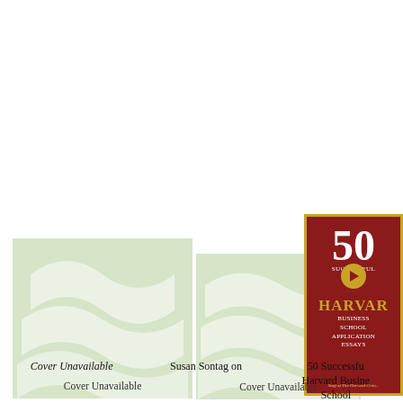[Figure (illustration): Book cover placeholder with light green wave design and text 'Cover Unavailable' - leftmost book]
[Figure (illustration): Book cover placeholder with light green wave design and text 'Cover Unavailable' - middle book]
[Figure (illustration): Book cover for '50 Successful Harvard Business School Application Essays' with dark red background and gold border - rightmost book, partially cropped]
Cover Unavailable
Cover Unavailable
Susan Sontag on
50 Successful Harvard Business School